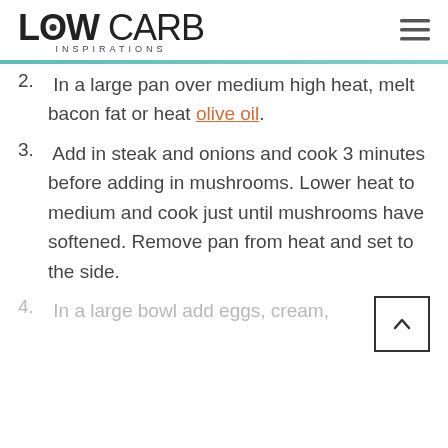LOW CARB INSPIRATIONS
2. In a large pan over medium high heat, melt bacon fat or heat olive oil.
3. Add in steak and onions and cook 3 minutes before adding in mushrooms. Lower heat to medium and cook just until mushrooms have softened. Remove pan from heat and set to the side.
4. In a large bowl add eggs, cream,